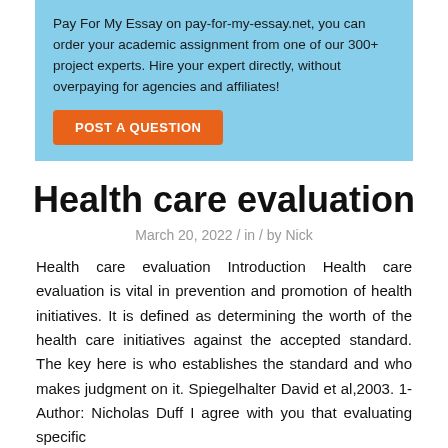Pay For My Essay on pay-for-my-essay.net, you can order your academic assignment from one of our 300+ project experts. Hire your expert directly, without overpaying for agencies and affiliates!
POST A QUESTION
Health care evaluation
March 20, 2022 / in / by Nick
Health care evaluation Introduction Health care evaluation is vital in prevention and promotion of health initiatives. It is defined as determining the worth of the health care initiatives against the accepted standard. The key here is who establishes the standard and who makes judgment on it. Spiegelhalter David et al,2003. 1-Author: Nicholas Duff I agree with you that evaluating specific